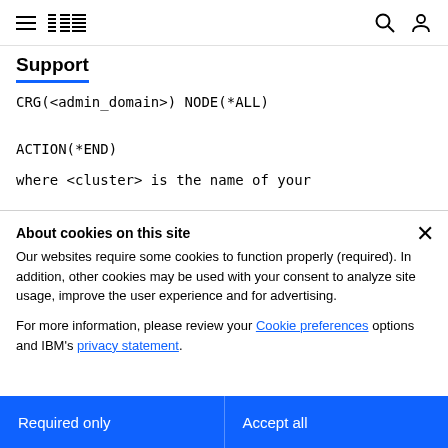IBM Support
CRG(<admin_domain>) NODE(*ALL)
ACTION(*END)

where <cluster> is the name of your
About cookies on this site
Our websites require some cookies to function properly (required). In addition, other cookies may be used with your consent to analyze site usage, improve the user experience and for advertising.
For more information, please review your Cookie preferences options and IBM's privacy statement.
Required only
Accept all